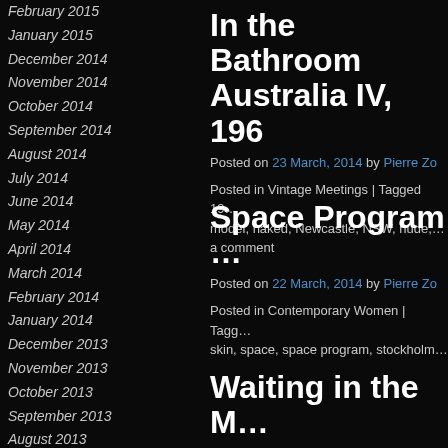February 2015
January 2015
December 2014
November 2014
October 2014
September 2014
August 2014
July 2014
June 2014
May 2014
April 2014
March 2014
February 2014
January 2014
December 2013
November 2013
October 2013
September 2013
August 2013
July 2013
June 2013
May 2013
April 2013
Categories
In the Bathroom Australia IV, 196…
Posted on 23 March, 2014 by Pierre Zo…
Posted in Vintage Meetings | Tagged 19… model, naked, Newcastle, NSW, nude, … a comment
Space Program …
Posted on 22 March, 2014 by Pierre Zo…
Posted in Contemporary Women | Tagg… skin, space, space program, stockholm…
Waiting in the M…